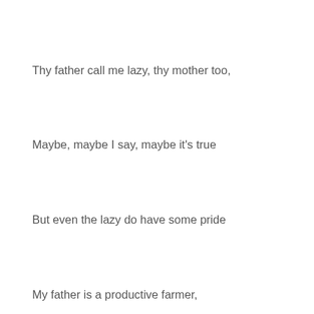Thy father call me lazy, thy mother too,
Maybe, maybe I say, maybe it's true
But even the lazy do have some pride
My father is a productive farmer,